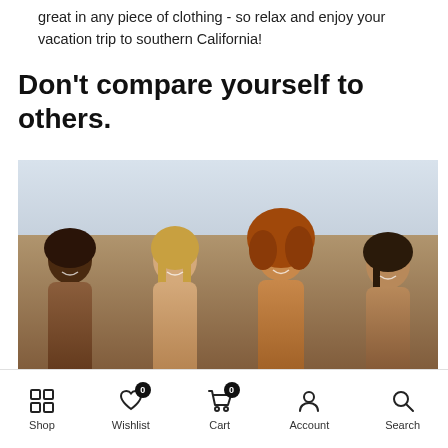great in any piece of clothing - so relax and enjoy your vacation trip to southern California!
Don't compare yourself to others.
[Figure (photo): Four women in swimwear smiling at the beach with a light sky background]
Shop | Wishlist 0 | Cart 0 | Account | Search